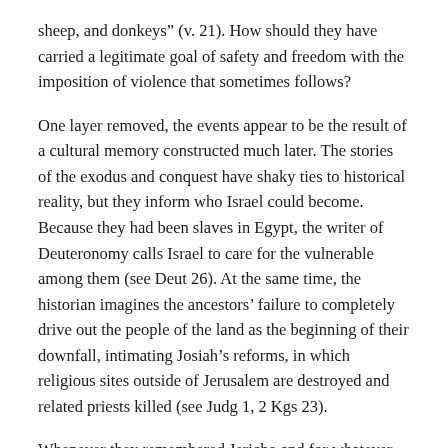sheep, and donkeys" (v. 21). How should they have carried a legitimate goal of safety and freedom with the imposition of violence that sometimes follows?
One layer removed, the events appear to be the result of a cultural memory constructed much later. The stories of the exodus and conquest have shaky ties to historical reality, but they inform who Israel could become. Because they had been slaves in Egypt, the writer of Deuteronomy calls Israel to care for the vulnerable among them (see Deut 26). At the same time, the historian imagines the ancestors' failure to completely drive out the people of the land as the beginning of their downfall, intimating Josiah's reforms, in which religious sites outside of Jerusalem are destroyed and related priests killed (see Judg 1, 2 Kgs 23).
Whenever they remembered Jericho and for whatever reason, they told a story about priests, the ark of the covenant, and warriors, all circling the city, shouting and blowing trumpets. They told a story about God leveling the walls that separated